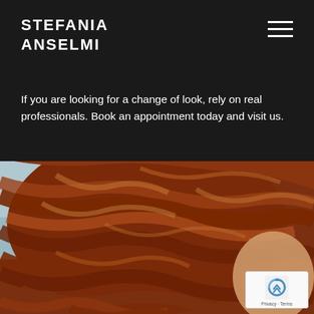STEFANIA ANSELMI
If you are looking for a change of look, rely on real professionals. Book an appointment today and visit us.
[Figure (photo): Close-up photo of a person with voluminous reddish-auburn wavy bob hairstyle, viewed from behind/side, in a salon setting.]
Privacy · Terms